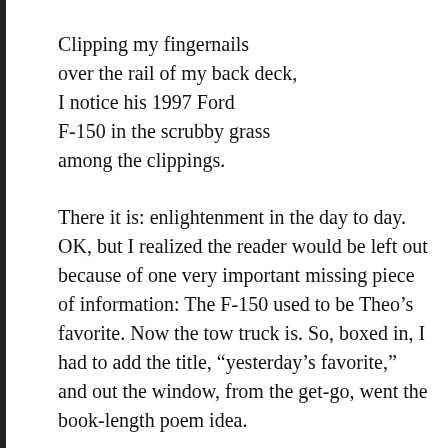Clipping my fingernails
over the rail of my back deck,
I notice his 1997 Ford
F-150 in the scrubby grass
among the clippings.
There it is: enlightenment in the day to day. OK, but I realized the reader would be left out because of one very important missing piece of information: The F-150 used to be Theo's favorite. Now the tow truck is. So, boxed in, I had to add the title, “yesterday’s favorite,” and out the window, from the get-go, went the book-length poem idea.
Going back to the point about the dailiness of poetry, I began to feel ill at ease with the commonplace, almost cliché aspect my poetry began to assume: Were these